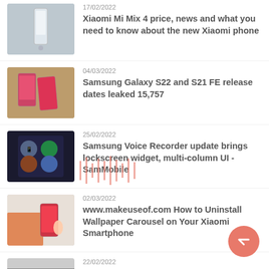[Figure (photo): Xiaomi phone product image on foggy background]
17/02/2022
Xiaomi Mi Mix 4 price, news and what you need to know about the new Xiaomi phone
[Figure (photo): Samsung Galaxy phones on wooden surface]
04/03/2022
Samsung Galaxy S22 and S21 FE release dates leaked 15,757
[Figure (photo): Samsung phone showing app icons on dark screen]
25/02/2022
Samsung Voice Recorder update brings lockscreen widget, multi-column UI - SamMobile
[Figure (photo): Hand holding Xiaomi smartphone, orange chair in background]
02/03/2022
www.makeuseof.com How to Uninstall Wallpaper Carousel on Your Xiaomi Smartphone
[Figure (photo): Dark phone image, partially visible]
22/02/2022